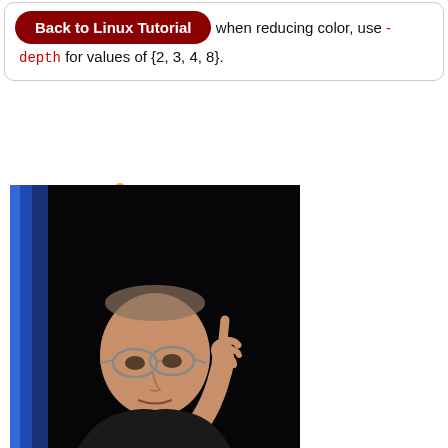when reducing color, use -depth for values of {2, 3, 4, 8}.
[Figure (photo): Photo of a man in a black turtleneck with glasses, raising one finger, against a dark background with blue lighting on the left side.]
[Figure (photo): Photo of the same man in a black turtleneck, partially cropped, against a dark background with blue lighting.]